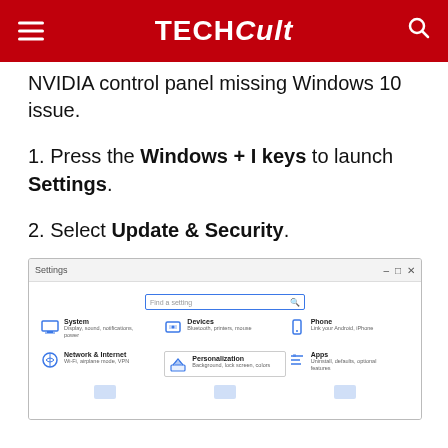TECHCult
NVIDIA control panel missing Windows 10 issue.
1. Press the Windows + I keys to launch Settings.
2. Select Update & Security.
[Figure (screenshot): Windows 10 Settings window showing Find a setting search bar and settings categories: System, Devices, Phone, Network & Internet, Personalization (highlighted), Apps, and partial bottom row icons.]